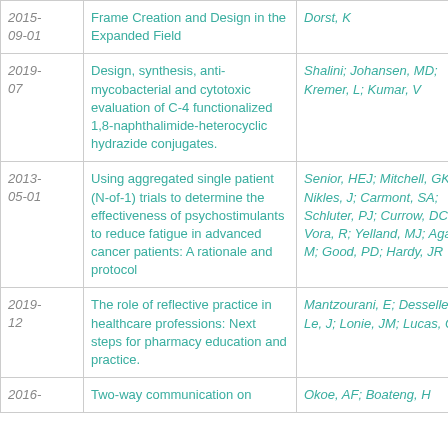| Date | Title | Authors |
| --- | --- | --- |
| 2015-09-01 | Frame Creation and Design in the Expanded Field | Dorst, K |
| 2019-07 | Design, synthesis, anti-mycobacterial and cytotoxic evaluation of C-4 functionalized 1,8-naphthalimide-heterocyclic hydrazide conjugates. | Shalini; Johansen, MD; Kremer, L; Kumar, V |
| 2013-05-01 | Using aggregated single patient (N-of-1) trials to determine the effectiveness of psychostimulants to reduce fatigue in advanced cancer patients: A rationale and protocol | Senior, HEJ; Mitchell, GK; Nikles, J; Carmont, SA; Schluter, PJ; Currow, DC; Vora, R; Yelland, MJ; Agar, M; Good, PD; Hardy, JR |
| 2019-12 | The role of reflective practice in healthcare professions: Next steps for pharmacy education and practice. | Mantzourani, E; Desselle, S; Le, J; Lonie, JM; Lucas, C |
| 2016- | Two-way communication on | Okoe, AF; Boateng, H |